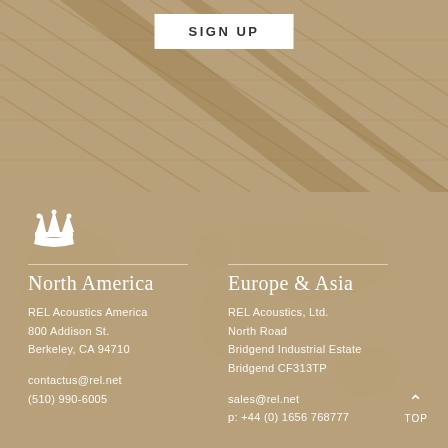[Figure (photo): Top section with diagonal texture/lines background in golden-brown color with a white SIGN UP button]
SIGN UP
[Figure (logo): White crown logo for REL Acoustics]
North America
REL Acoustics America
800 Addison St.
Berkeley, CA 94710
contactus@rel.net
(510) 990-6005
Europe & Asia
REL Acoustics, Ltd.
North Road
Bridgend Industrial Estate
Bridgend CF313TP
sales@rel.net
p: +44 (0) 1656 768777